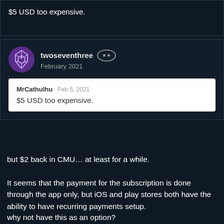$5 USD too expensive.
twoseventhree ** February 2021
MrCathulhu Feb 5, 2021
$5 USD too expensive.
but $2 back in CMU… at least for a while.
It seems that the payment for the subscription is done through the app only, but iOS and play stores both have the ability to have recurring payments setup.
why not have this as an option?